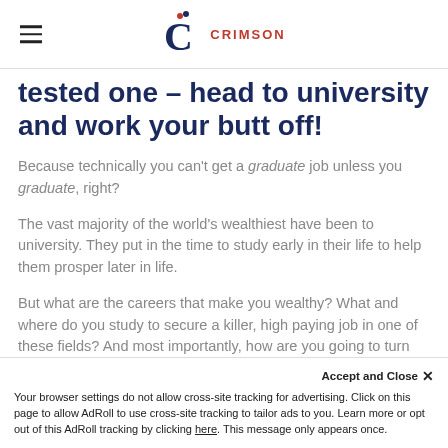CRIMSON (logo/navigation header)
tested one – head to university and work your butt off!
Because technically you can't get a graduate job unless you graduate, right?
The vast majority of the world's wealthiest have been to university. They put in the time to study early in their life to help them prosper later in life.
But what are the careers that make you wealthy? What and where do you study to secure a killer, high paying job in one of these fields? And most importantly, how are you going to turn your graduate job into millions?
Degrees most likely to make you a
Accept and Close ✕
Your browser settings do not allow cross-site tracking for advertising. Click on this page to allow AdRoll to use cross-site tracking to tailor ads to you. Learn more or opt out of this AdRoll tracking by clicking here. This message only appears once.